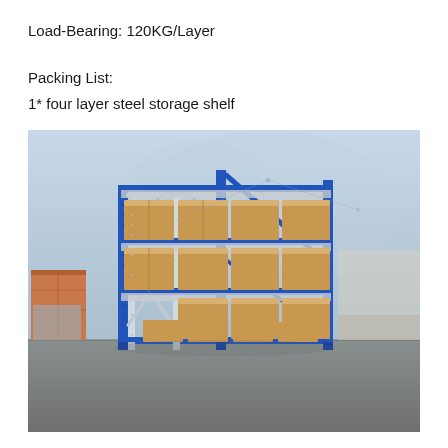Load-Bearing: 120KG/Layer
Packing List:
1* four layer steel storage shelf
[Figure (photo): Product photo of a blue and grey four-layer steel storage shelf loaded with cardboard boxes, set against a warehouse background with shipping containers and a world map overlay.]